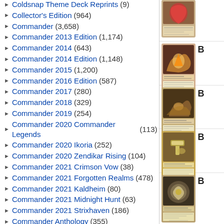Coldsnap Theme Deck Reprints (9)
Collector's Edition (964)
Commander (3,658)
Commander 2013 Edition (1,174)
Commander 2014 (643)
Commander 2014 Edition (1,148)
Commander 2015 (1,200)
Commander 2016 Edition (587)
Commander 2017 (280)
Commander 2018 (329)
Commander 2019 (254)
Commander 2020 Commander Legends (113)
Commander 2020 Ikoria (252)
Commander 2020 Zendikar Rising (104)
Commander 2021 Crimson Vow (38)
Commander 2021 Forgotten Realms (478)
Commander 2021 Kaldheim (80)
Commander 2021 Midnight Hunt (63)
Commander 2021 Strixhaven (186)
Commander Anthology (355)
Commander Anthology Volume II (347)
Commander Collection: Black (10)
Commander Collection: Green (8)
Commander Legends (826)
Commander Legends: Battle for ... (1,605)
Commander Legends: Arca... (???)